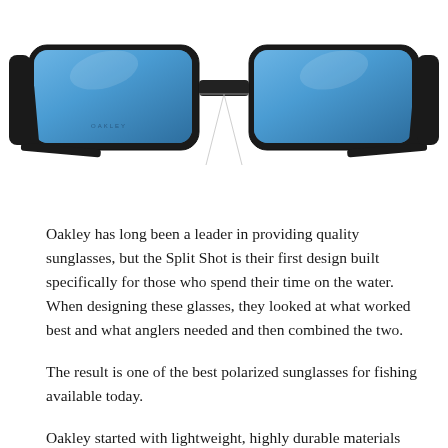[Figure (photo): Oakley Split Shot sunglasses with black frames and blue mirrored polarized lenses, shown from front angle against white background]
Oakley has long been a leader in providing quality sunglasses, but the Split Shot is their first design built specifically for those who spend their time on the water. When designing these glasses, they looked at what worked best and what anglers needed and then combined the two.
The result is one of the best polarized sunglasses for fishing available today.
Oakley started with lightweight, highly durable materials such as O Matter frames and Unobtanium nose bridge for their